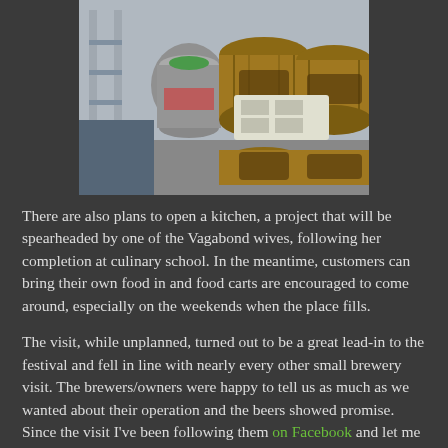[Figure (photo): Photo of brewery barrels and kegs stored in a room, with a ladder on the left side and wooden whiskey barrels stacked on the right.]
There are also plans to open a kitchen, a project that will be spearheaded by one of the Vagabond wives, following her completion at culinary school. In the meantime, customers can bring their own food in and food carts are encouraged to come around, especially on the weekends when the place fills.
The visit, while unplanned, turned out to be a great lead-in to the festival and fell in line with nearly every other small brewery visit. The brewers/owners were happy to tell us as much as we wanted about their operation and the beers showed promise. Since the visit I've been following them on Facebook and let me tell you, if I lived in Salem you can bet I'd be spending plenty of time at Vagabond. It